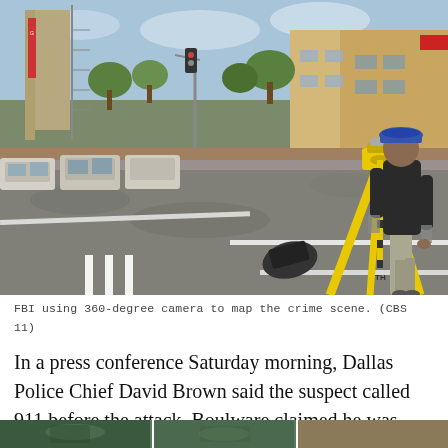[Figure (photo): A man wearing a blue hat and dark jacket stands next to a yellow surveying tripod/360-degree camera in the middle of a city street intersection. Buildings and parked cars are visible in the background. The scene appears to be an urban downtown area with the street closed off.]
FBI using 360-degree camera to map the crime scene. (CBS 11)
In a press conference Saturday morning, Dallas Police Chief David Brown said the suspect called 911 before the attack. Boulware claimed he was driving was rigged with C-4 explosives.
[Figure (photo): Partial view of a second photo at the bottom of the page, showing what appears to be green-tinted building interior or windows.]